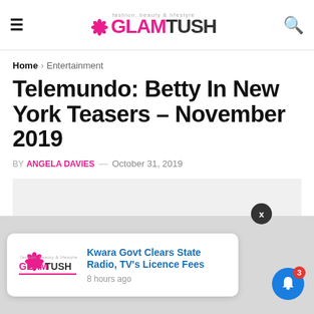GLAMTUSH
Home > Entertainment
Telemundo: Betty In New York Teasers – November 2019
BY ANGELA DAVIES — October 31, 2019
[Figure (other): Advertisement placeholder / grey box]
Kwara Govt Clears State Radio, TV's Licence Fees
8 hours ago